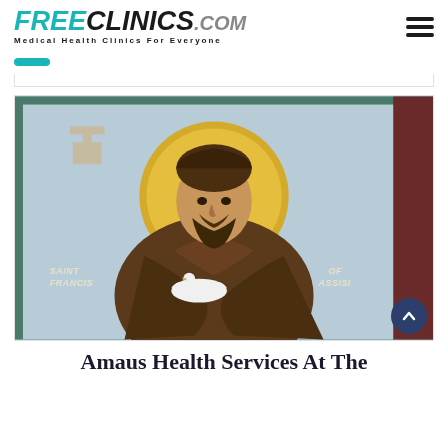FREECLINICS.COM — Medical Health Clinics For Everyone
[Figure (illustration): Religious icon painting of Saint Francis of Assisi wearing brown Franciscan robes, holding a white dove, with a golden halo, and a tau cross symbol in the upper left. Text 'SAINT FRANCIS' on the left and 'OF ASSISI' on the right.]
Amaus Health Services At The